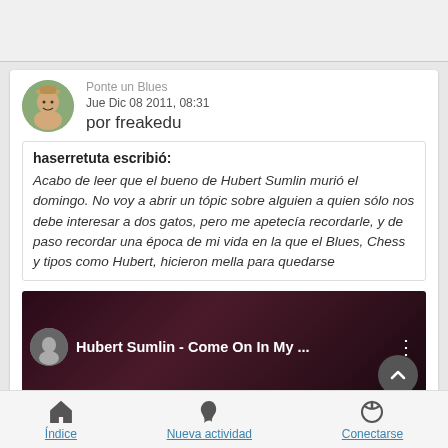[Figure (screenshot): Top banner area, gray background]
Ponte un Blues
Jue Dic 08 2011, 08:31
por freakedu
haserretuta escribió:
Acabo de leer que el bueno de Hubert Sumlin murió el domingo. No voy a abrir un tópic sobre alguien a quien sólo nos debe interesar a dos gatos, pero me apetecía recordarle, y de paso recordar una época de mi vida en la que el Blues, Chess y tipos como Hubert, hicieron mella para quedarse
[Figure (screenshot): YouTube video thumbnail: Hubert Sumlin - Come On In My ...]
Índice   Nueva actividad   Conectarse